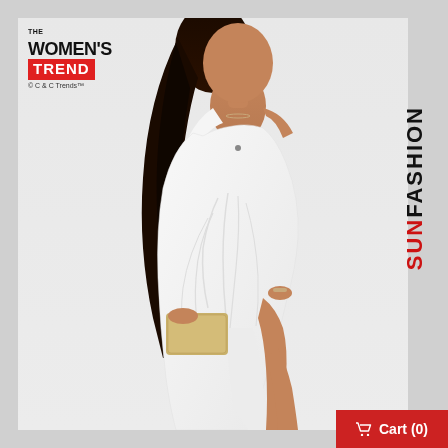[Figure (photo): Woman wearing a white one-shoulder draped maxi dress with a high slit, holding a gold clutch, against a light grey background]
[Figure (logo): THE WOMEN'S TREND logo — black text 'WOMEN'S' with red background box containing white bold text 'TREND', copyright line '© C & C Trends™']
SUNFASHION (vertical text, SUN in red, FASHION in dark/black)
🛒 Cart (0)